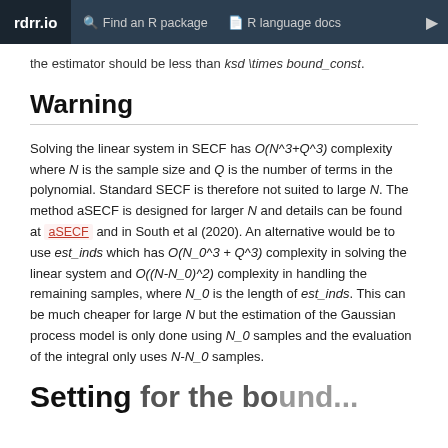rdrr.io   Find an R package   R language docs
the estimator should be less than ksd \times bound_const.
Warning
Solving the linear system in SECF has O(N^3+Q^3) complexity where N is the sample size and Q is the number of terms in the polynomial. Standard SECF is therefore not suited to large N. The method aSECF is designed for larger N and details can be found at aSECF and in South et al (2020). An alternative would be to use est_inds which has O(N_0^3 + Q^3) complexity in solving the linear system and O((N-N_0)^2) complexity in handling the remaining samples, where N_0 is the length of est_inds. This can be much cheaper for large N but the estimation of the Gaussian process model is only done using N_0 samples and the evaluation of the integral only uses N-N_0 samples.